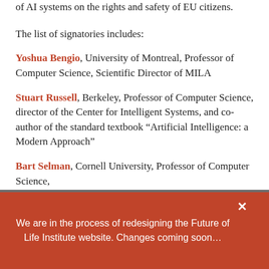of AI systems on the rights and safety of EU citizens.
The list of signatories includes:
Yoshua Bengio, University of Montreal, Professor of Computer Science, Scientific Director of MILA
Stuart Russell, Berkeley, Professor of Computer Science, director of the Center for Intelligent Systems, and co-author of the standard textbook “Artificial Intelligence: a Modern Approach”
Bart Selman, Cornell University, Professor of Computer Science,
This website uses both functional and non-functional cookies. For the placement and reading of non-functional cookies, we require
We are in the process of redesigning the Future of Life Institute website. Changes coming soon…